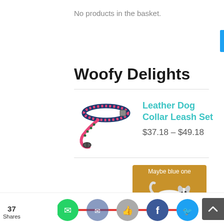No products in the basket.
Woofy Delights
[Figure (photo): Product image of leather dog collar and pink leash set]
Leather Dog Collar Leash Set
$37.18 – $49.18
[Figure (illustration): Advertisement showing a dalmatian dog on a blue mat with text 'Maybe blue one' and 'SHOP NOW' button on green background, amber/gold colored background]
37 Shares